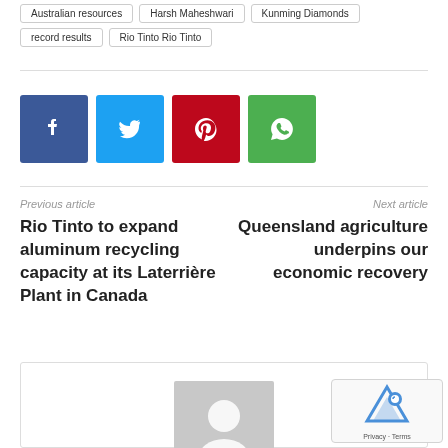Australian resources
Harsh Maheshwari
Kunming Diamonds
record results
Rio Tinto Rio Tinto
[Figure (infographic): Social media share buttons: Facebook (blue), Twitter (cyan), Pinterest (red), WhatsApp (green)]
Previous article
Rio Tinto to expand aluminum recycling capacity at its Laterrière Plant in Canada
Next article
Queensland agriculture underpins our economic recovery
[Figure (illustration): Author avatar placeholder - grey square with white silhouette of a person]